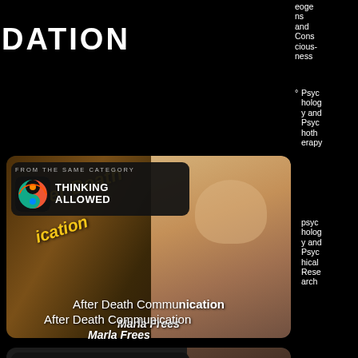DATION
eogens and Consciousness
Psychology and Psychotherapy
psychology and Psychological Research
[Figure (screenshot): Card thumbnail showing Thinking Allowed podcast badge over a book titled 'After Death Communication' with a photo of Marla Frees on the right side. The badge reads 'FROM THE SAME CATEGORY' with the Thinking Allowed logo.]
After Death Communication
Marla Frees
[Figure (screenshot): Second card thumbnail at bottom showing 'FROM THE SAME CATEGORY' badge with Thinking Allowed logo, partially visible.]